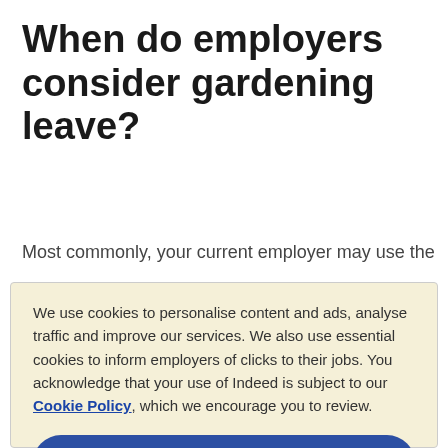When do employers consider gardening leave?
Most commonly, your current employer may use the
We use cookies to personalise content and ads, analyse traffic and improve our services. We also use essential cookies to inform employers of clicks to their jobs. You acknowledge that your use of Indeed is subject to our Cookie Policy, which we encourage you to review.
Cookies Settings
Reject All
Accept All Cookies